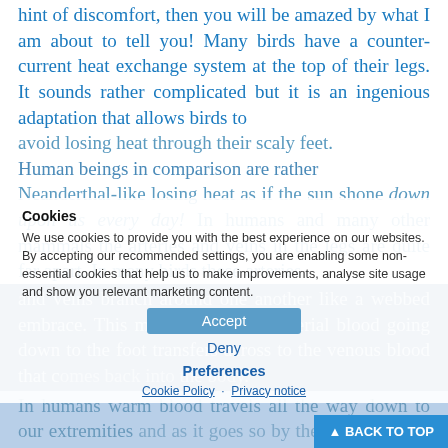hint of discomfort, then you will be amazed by what I am about to tell you! Many birds have a counter-current heat exchange system at the top of their legs. It sounds rather complicated but it is an ingenious adaptation that allows birds to avoid losing heat through their scaly feet. Human beings in comparison are rather Neanderthal-like losing heat as if the sun shone down upon us every day! In humans and many other mammals the arteries and veins in the legs are quite far apart. In many birds these arteries and veins branch around one another like a webbed embrace. This means that warm arterial blood going down to the foot transfers across to the venous blood that comes back into the body. In humans warm blood travels all the way down to our extremities and as it goes so by the time it travels back up our veins and into our body the blood has dropped it—
Cookies
We use cookies to provide you with the best experience on our websites. By accepting our recommended settings, you are enabling some non-essential cookies that help us to make improvements, analyse site usage and show you relevant marketing content.
Accept
Deny
Preferences
Cookie Policy · Privacy notice
▲ BACK TO TOP